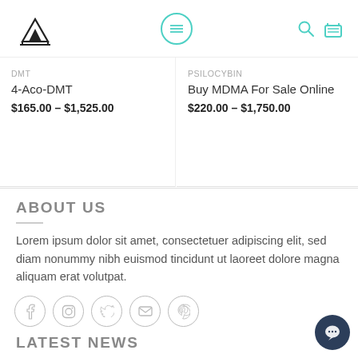Navigation header with logo, menu icon, search and cart icons
DMT
4-Aco-DMT
$165.00 – $1,525.00
PSILOCYBIN
Buy MDMA For Sale Online
$220.00 – $1,750.00
ABOUT US
Lorem ipsum dolor sit amet, consectetuer adipiscing elit, sed diam nonummy nibh euismod tincidunt ut laoreet dolore magna aliquam erat volutpat.
[Figure (other): Social media icons row: Facebook, Instagram, Twitter, Email, Pinterest]
LATEST NEWS